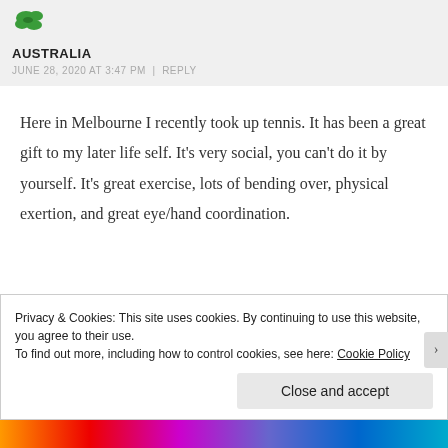[Figure (logo): Green stylized Australia logo/icon]
AUSTRALIA
JUNE 28, 2020 AT 3:47 PM | REPLY
Here in Melbourne I recently took up tennis. It has been a great gift to my later life self. It's very social, you can't do it by yourself. It's great exercise, lots of bending over, physical exertion, and great eye/hand coordination.
Privacy & Cookies: This site uses cookies. By continuing to use this website, you agree to their use.
To find out more, including how to control cookies, see here: Cookie Policy